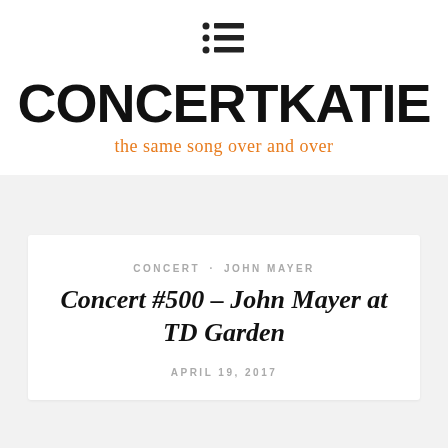[Figure (logo): Hamburger/list menu icon made of dots and lines]
ConcertKatie
the same song over and over
CONCERT · JOHN MAYER
Concert #500 – John Mayer at TD Garden
APRIL 19, 2017